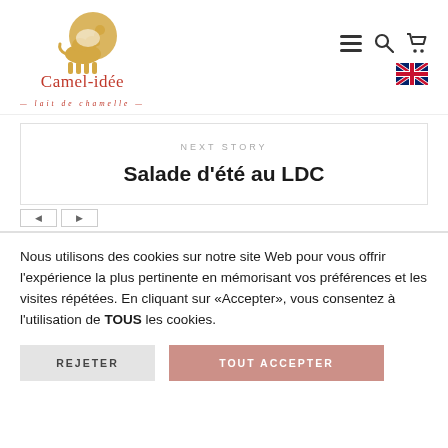Camel-idée — lait de chamelle — navigation header with logo, menu, search, cart, and UK flag
NEXT STORY
Salade d'été au LDC
Nous utilisons des cookies sur notre site Web pour vous offrir l'expérience la plus pertinente en mémorisant vos préférences et les visites répétées. En cliquant sur «Accepter», vous consentez à l'utilisation de TOUS les cookies.
REJETER | TOUT ACCEPTER